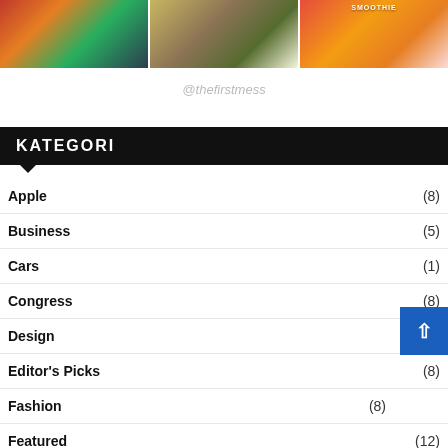[Figure (photo): Three food/drink photos in a row: a colorful vegetable dish, a taco/sandwich, and smoothie drinks]
@thefirstmess
KATEGORI
Apple (8)
Business (5)
Cars (1)
Congress (8)
Design (8)
Editor's Picks (8)
Fashion (8)
Featured (12)
Fitness (10)